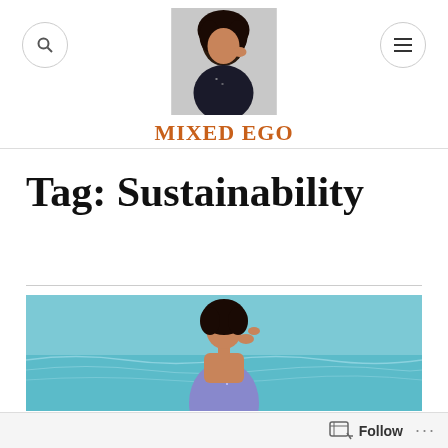[Figure (photo): Circular search icon button on the left of the header]
[Figure (photo): Portrait photo of a woman with curly hair touching her face, used as website logo/avatar]
MIXED EGO
[Figure (photo): Hamburger menu icon button on the right of the header]
Tag: Sustainability
[Figure (photo): Photo of a woman in a blue/purple strapless dress standing near aqua blue water]
Follow ...